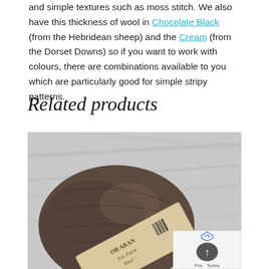and simple textures such as moss stitch. We also have this thickness of wool in Chocolate Black (from the Hebridean sheep) and the Cream (from the Dorset Downs) so if you want to work with colours, there are combinations available to you which are particularly good for simple stripy patterns.
Related products
[Figure (photo): A ball of dark brown/chocolate yarn with a cream paper label reading 'OB ARAN - Isle Farm Wool ~', resting on a light grey fabric background.]